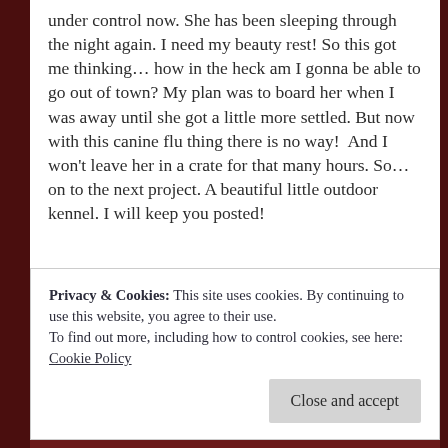under control now. She has been sleeping through the night again. I need my beauty rest! So this got me thinking… how in the heck am I gonna be able to go out of town? My plan was to board her when I was away until she got a little more settled. But now with this canine flu thing there is no way!  And I won't leave her in a crate for that many hours. So…on to the next project. A beautiful little outdoor kennel. I will keep you posted!
Privacy & Cookies: This site uses cookies. By continuing to use this website, you agree to their use.
To find out more, including how to control cookies, see here:
Cookie Policy